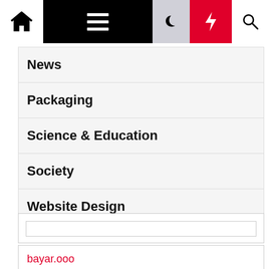[Figure (screenshot): Top navigation bar with home icon, hamburger menu (black background), moon icon, red lightning bolt icon, and search icon]
News
Packaging
Science & Education
Society
Website Design
[Figure (screenshot): Search widget box with an empty text input field]
bayar.ooo